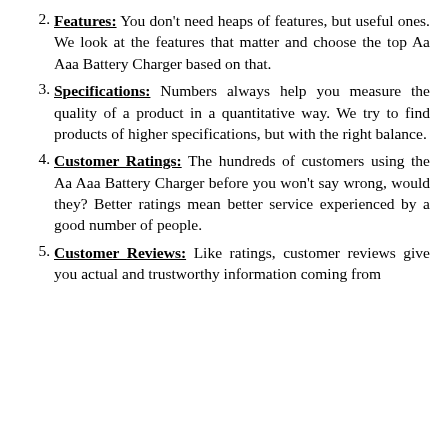2. Features: You don't need heaps of features, but useful ones. We look at the features that matter and choose the top Aa Aaa Battery Charger based on that.
3. Specifications: Numbers always help you measure the quality of a product in a quantitative way. We try to find products of higher specifications, but with the right balance.
4. Customer Ratings: The hundreds of customers using the Aa Aaa Battery Charger before you won't say wrong, would they? Better ratings mean better service experienced by a good number of people.
5. Customer Reviews: Like ratings, customer reviews give you actual and trustworthy information coming from